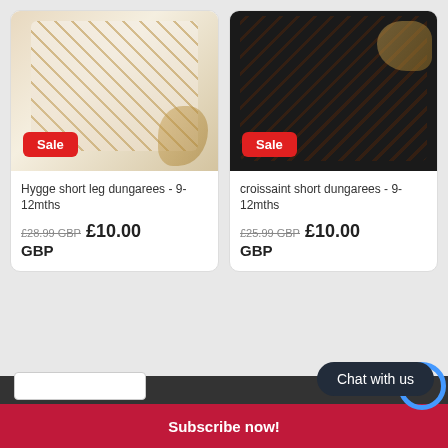[Figure (photo): Hygge short leg dungarees product photo on white/natural background with dried grass decoration, Sale badge overlay]
Hygge short leg dungarees - 9-12mths
£28.99 GBP  £10.00 GBP
[Figure (photo): Croissant short dungarees product photo on dark/black background with dried grass decoration, Sale badge overlay]
croissaint short dungarees - 9-12mths
£25.99 GBP  £10.00 GBP
Chat with us
Subscribe now!